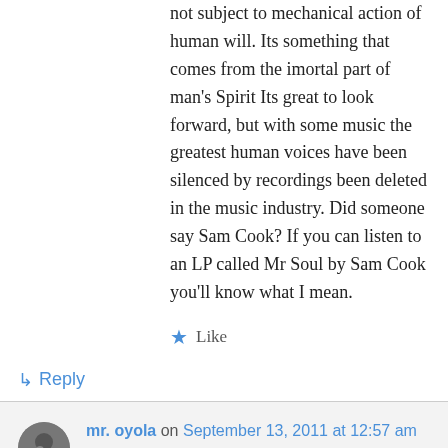not subject to mechanical action of human will. Its something that comes from the imortal part of man's Spirit Its great to look forward, but with some music the greatest human voices have been silenced by recordings been deleted in the music industry. Did someone say Sam Cook? If you can listen to an LP called Mr Soul by Sam Cook you'll know what I mean.
★ Like
↳ Reply
mr. oyola on September 13, 2011 at 12:57 am
You should read my piece from last year: "Ain't Got the Same Soul"
https://soundstudiosblog.com/2010/11/29/ai...